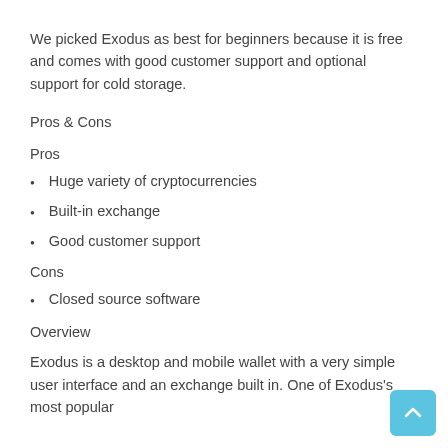We picked Exodus as best for beginners because it is free and comes with good customer support and optional support for cold storage.
Pros & Cons
Pros
Huge variety of cryptocurrencies
Built-in exchange
Good customer support
Cons
Closed source software
Overview
Exodus is a desktop and mobile wallet with a very simple user interface and an exchange built in. One of Exodus's most popular